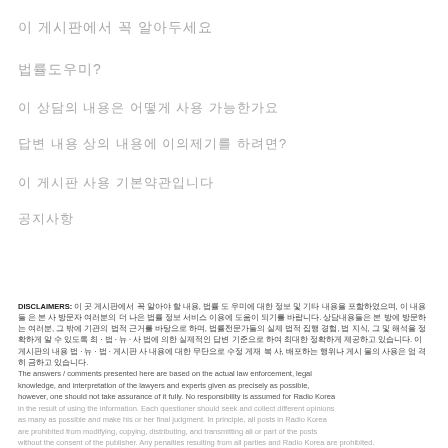이 게시판에서 꼭 알아두세요
법률도우미?
이 상담의 내용은 어떻게 사용 가능한가요
답변 내용 상의 내용에 이의제기를 하려면?
이 게시판 사용 기본약관입니다
공지사항
DISCLAIMERS: 이 곳 게시판에서 꼭 알아야 할 내용, 법률 도 우미에 대한 정보 및 기타 내용을 포함하였으며, 이 내용들 은 본 사 방문자 여러분의 더 나은 법률 정보 서비스 이용에 도움이 되기를 바랍니다. 상담내용들은 본 방에 방문하는 여러분, 그 밖에 기관의 법적 근거를 바탕으로 하며, 법률전문가들의 실제 법 적 집행 경험, 법 지식, 그 및 해석을 정확하게 알 수 있도록 최 · 법 · 뉴 · 사 법에 의한 실제적인 답변 기준으로 하여 최대한 정확하게 제공하고 있습니다. 이 게시판의 내용 법 · 뉴 · 법 · 게시판 사 내용에 대한 무단으로 수정 게재 복 사, 배포하는 행위나 게시 물의 사용은 엄 격히 금하고 있습니다. The answers / comments presented here are based on the actual law enforcement, legal knowledge, and interpretation of the lawyers and experts given as precisely as possible, however, one should not take assurance of it fully. No responsibility is assumed for Radio Korea in the result of using the information. Each questioner should seek and collect different opinions as many as possible and make his or her final judgment. In principle, all posts in Radio Korea are prohibited from modifying, copying, distributing, and transmitting all or part of the posts without the consent of the publisher. Any penalties resulting from all parties and Radio Korea are prohibited.